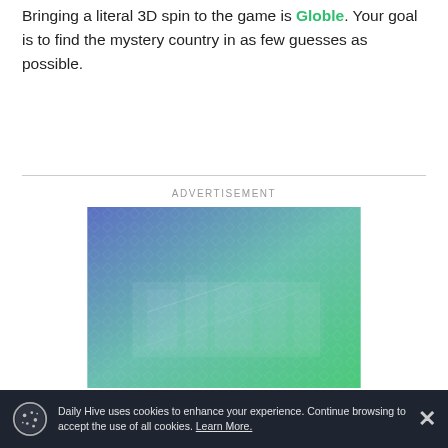Bringing a literal 3D spin to the game is Globle. Your goal is to find the mystery country in as few guesses as possible.
[Figure (other): Advertisement image with blue-to-green gradient background and diamond pattern overlay, showing a blurred city/building scene underneath]
Daily Hive uses cookies to enhance your experience. Continue browsing to accept the use of all cookies. Learn More.